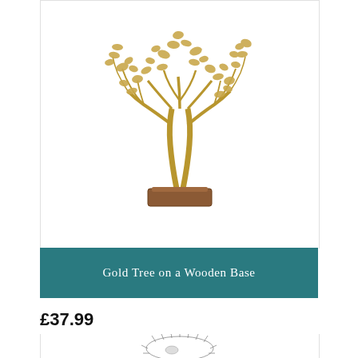[Figure (photo): A gold metallic tree sculpture with intricate branching and leaf details, mounted on a rectangular wooden base. The tree is shown against a white background.]
Gold Tree on a Wooden Base
£37.99
[Figure (photo): Partial view of a second product — a silver/chrome wire hedgehog or similar decorative figure, shown from above against a white background.]